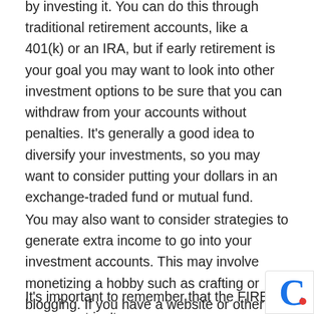by investing it. You can do this through traditional retirement accounts, like a 401(k) or an IRA, but if early retirement is your goal you may want to look into other investment options to be sure that you can withdraw from your accounts without penalties. It's generally a good idea to diversify your investments, so you may want to consider putting your dollars in an exchange-traded fund or mutual fund.
You may also want to consider strategies to generate extra income to go into your investment accounts. This may involve monetizing a hobby such as crafting or blogging. If you have a website or other online platform, you can take advantage of that space to make a passive income with affiliate links, ads or bespoke digital content.
It's important to remember that the FIRE movement isn't